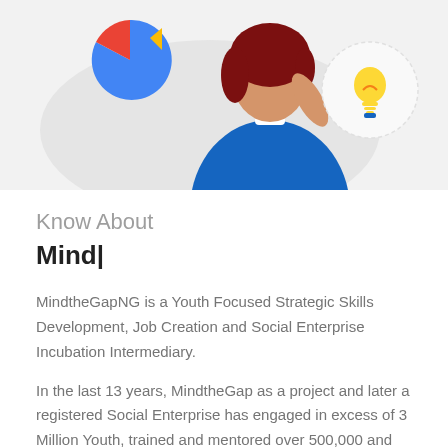[Figure (illustration): Partial illustration showing a person with red hair wearing a blue top, with a pie chart icon on the left, and a yellow lightbulb icon in a circular badge on the right, on a light grey background.]
Know About
Mind|
MindtheGapNG is a Youth Focused Strategic Skills Development, Job Creation and Social Enterprise Incubation Intermediary.
In the last 13 years, MindtheGap as a project and later a registered Social Enterprise has engaged in excess of 3 Million Youth, trained and mentored over 500,000 and 5,000 respectively.